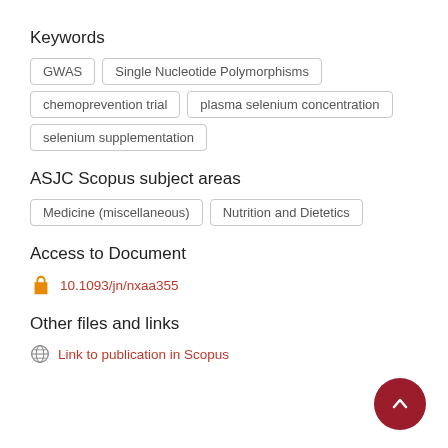Keywords
GWAS
Single Nucleotide Polymorphisms
chemoprevention trial
plasma selenium concentration
selenium supplementation
ASJC Scopus subject areas
Medicine (miscellaneous)
Nutrition and Dietetics
Access to Document
10.1093/jn/nxaa355
Other files and links
Link to publication in Scopus